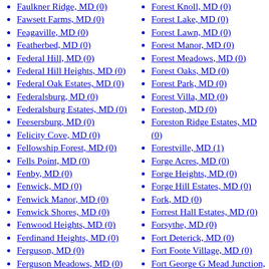Faulkner Ridge, MD (0)
Fawsett Farms, MD (0)
Feagaville, MD (0)
Featherbed, MD (0)
Federal Hill, MD (0)
Federal Hill Heights, MD (0)
Federal Oak Estates, MD (0)
Federalsburg, MD (0)
Federalsburg Estates, MD (0)
Feesersburg, MD (0)
Felicity Cove, MD (0)
Fellowship Forest, MD (0)
Fells Point, MD (0)
Fenby, MD (0)
Fenwick, MD (0)
Fenwick Manor, MD (0)
Fenwick Shores, MD (0)
Fenwood Heights, MD (0)
Ferdinand Heights, MD (0)
Ferguson, MD (0)
Ferguson Meadows, MD (0)
Fern Valley, MD (0)
Fernbrook, MD (0)
Forest Knoll, MD (0)
Forest Lake, MD (0)
Forest Lawn, MD (0)
Forest Manor, MD (0)
Forest Meadows, MD (0)
Forest Oaks, MD (0)
Forest Park, MD (0)
Forest Villa, MD (0)
Foreston, MD (0)
Foreston Ridge Estates, MD (0)
Forestville, MD (1)
Forge Acres, MD (0)
Forge Heights, MD (0)
Forge Hill Estates, MD (0)
Fork, MD (0)
Forrest Hall Estates, MD (0)
Forsythe, MD (0)
Fort Deterick, MD (0)
Fort Foote Village, MD (0)
Fort George G Mead Junction, MD (0)
Fort Howard, MD (0)
Fort Pendleton, MD (0)
Fort Washington, MD (0)
Fort Washington Forest